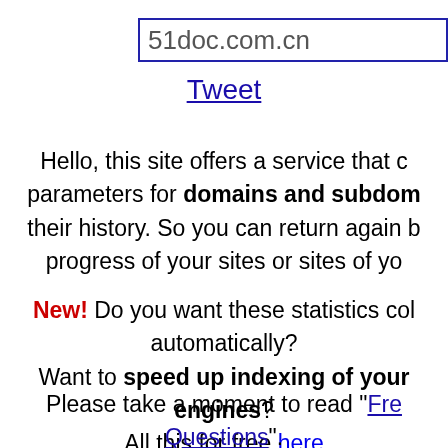51doc.com.cn
Tweet
Hello, this site offers a service that checks parameters for domains and subdomains and their history. So you can return again to see progress of your sites or sites of yo...
New! Do you want these statistics collected automatically? Want to speed up indexing of your engines? All this for free here
Please take a moment to read "Frequently Asked Questions". If you want to contact us please